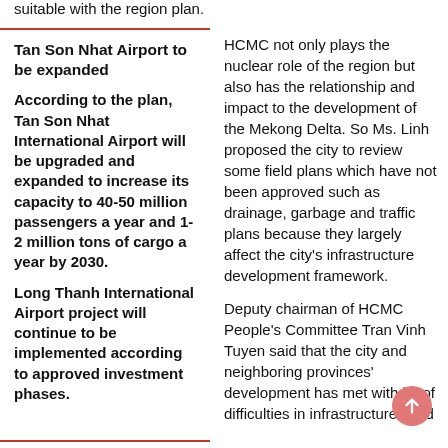suitable with the region plan.
Tan Son Nhat Airport to be expanded
According to the plan, Tan Son Nhat International Airport will be upgraded and expanded to increase its capacity to 40-50 million passengers a year and 1-2 million tons of cargo a year by 2030.
Long Thanh International Airport project will continue to be implemented according to approved investment phases.
HCMC not only plays the nuclear role of the region but also has the relationship and impact to the development of the Mekong Delta. So Ms. Linh proposed the city to review some field plans which have not been approved such as drainage, garbage and traffic plans because they largely affect the city's infrastructure development framework.
Deputy chairman of HCMC People's Committee Tran Vinh Tuyen said that the city and neighboring provinces' development has met with lot of difficulties in infrastructures and